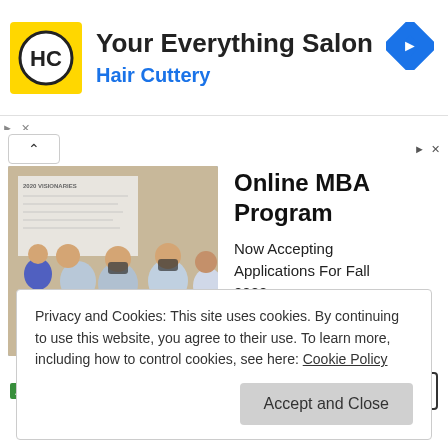[Figure (infographic): Hair Cuttery advertisement banner with yellow logo showing HC initials, title 'Your Everything Salon', subtitle 'Hair Cuttery' in blue, and a blue diamond navigation icon on the right]
[Figure (infographic): James Madison University Online MBA Program advertisement with photo of masked people at a 2020 Visionaries board meeting, text 'Online MBA Program Now Accepting Applications For Fall 2022', and an Open button]
Privacy and Cookies: This site uses cookies. By continuing to use this website, you agree to their use. To learn more, including how to control cookies, see here: Cookie Policy